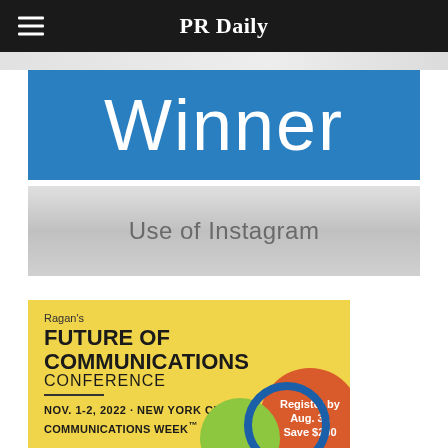PR Daily
Winner
Use of Instagram
[Figure (infographic): Ragan's Future of Communications Conference advertisement. Yellow background with bold text: FUTURE OF COMMUNICATIONS CONFERENCE. Date: NOV. 1-2, 2022 · NEW YORK CITY. COMMUNICATIONS WEEK. Orange circle badge: Register by Aug. 31 Save $200. Green circle and blue arc decorative elements at bottom.]